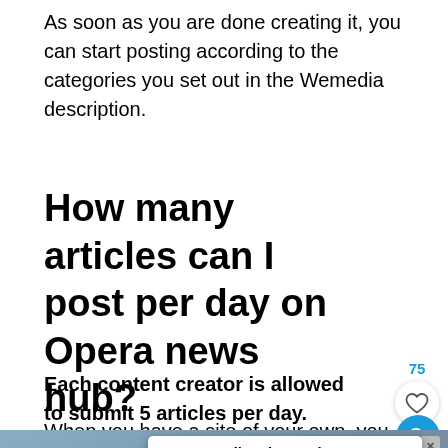As soon as you are done creating it, you can start posting according to the categories you set out in the Wemedia description.
How many articles can I post per day on Opera news hub?
Each content creator is allowed to submit 5 articles per day.
When you have a site of your own, you have...
[Figure (other): Advertisement banner for AllTech Services showing A/C System Tune-up ONLY $77 with a Learn More button, with photo of two men in background]